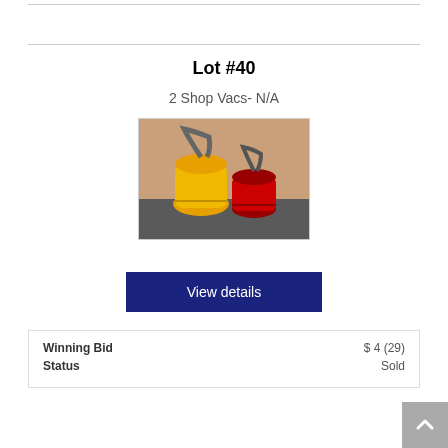Lot #40
2 Shop Vacs- N/A
[Figure (photo): Two shop vacuum cleaners (one yellow, one red) sitting on a dark floor against a brown/tan wall]
View details
| Winning Bid | $ 4 (29) |
| Status | Sold |